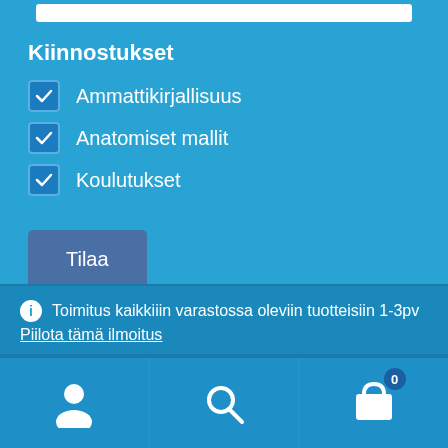Kiinnostukset
Ammattikirjallisuus
Anatomiset mallit
Koulutukset
Tilaa
Toimitus kaikkiiin varastossa oleviin tuotteisiin 1-3pv
Piilota tämä ilmoitus
[Figure (screenshot): Bottom navigation bar with user icon, search icon, and shopping cart icon with badge showing 0]